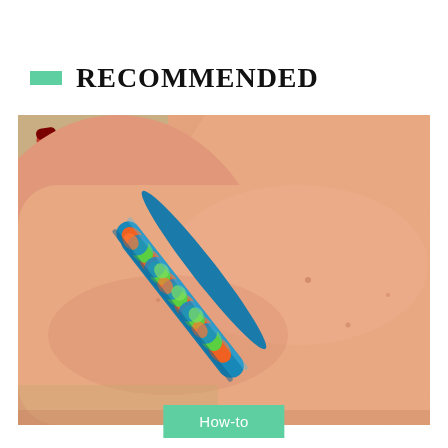RECOMMENDED
[Figure (photo): A wrist wearing a braided duct tape bracelet with orange, green, and blue colors. In the background there is a wooden desk surface and some red/silver pens.]
How-to